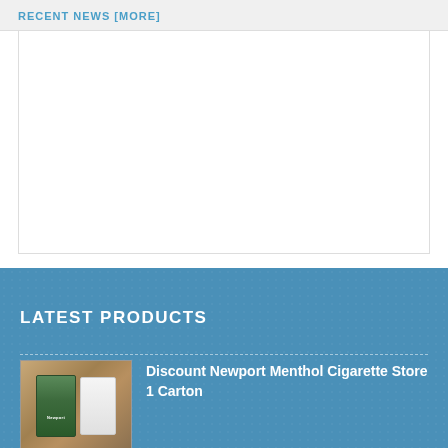RECENT NEWS [MORE]
[Figure (other): Empty white content box below the Recent News header]
LATEST PRODUCTS
[Figure (photo): Product image showing Newport Menthol cigarette packs on a wooden surface]
Discount Newport Menthol Cigarette Store 1 Carton